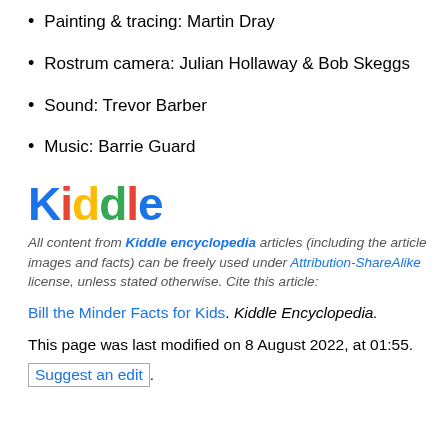Painting & tracing: Martin Dray
Rostrum camera: Julian Hollaway & Bob Skeggs
Sound: Trevor Barber
Music: Barrie Guard
[Figure (logo): Kiddle logo with colorful letters: K in blue, i with orange dot, d in yellow, d in green, l in orange, e in blue]
All content from Kiddle encyclopedia articles (including the article images and facts) can be freely used under Attribution-ShareAlike license, unless stated otherwise. Cite this article:
Bill the Minder Facts for Kids. Kiddle Encyclopedia.
This page was last modified on 8 August 2022, at 01:55.
Suggest an edit.